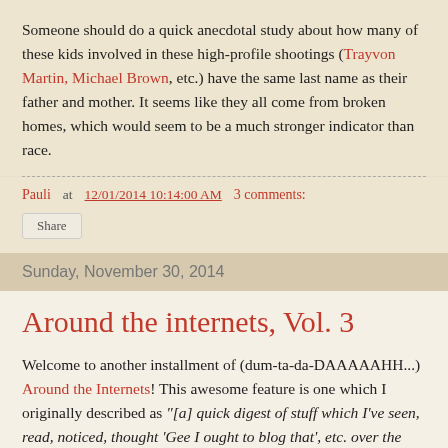Someone should do a quick anecdotal study about how many of these kids involved in these high-profile shootings (Trayvon Martin, Michael Brown, etc.) have the same last name as their father and mother. It seems like they all come from broken homes, which would seem to be a much stronger indicator than race.
Pauli at 12/01/2014 10:14:00 AM   3 comments:
Share
Sunday, November 30, 2014
Around the internets, Vol. 3
Welcome to another installment of (dum-ta-da-DAAAAAHH...) Around the Internets! This awesome feature is one which I originally described as "[a] quick digest of stuff which I've seen, read, noticed, thought 'Gee I ought to blog that', etc. over the last 4 or 5 months." Actually the time-frame is a bit shorter this time. So without further ado...